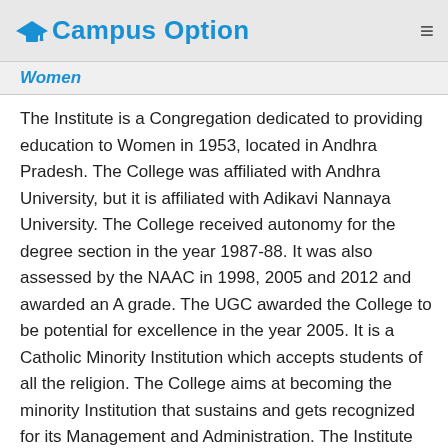Campus Option
Women
The Institute is a Congregation dedicated to providing education to Women in 1953, located in Andhra Pradesh. The College was affiliated with Andhra University, but it is affiliated with Adikavi Nannaya University. The College received autonomy for the degree section in the year 1987-88. It was also assessed by the NAAC in 1998, 2005 and 2012 and awarded an A grade. The UGC awarded the College to be potential for excellence in the year 2005. It is a Catholic Minority Institution which accepts students of all the religion. The College aims at becoming the minority Institution that sustains and gets recognized for its Management and Administration. The Institute will respect the freedom to express and faith in other religions in the